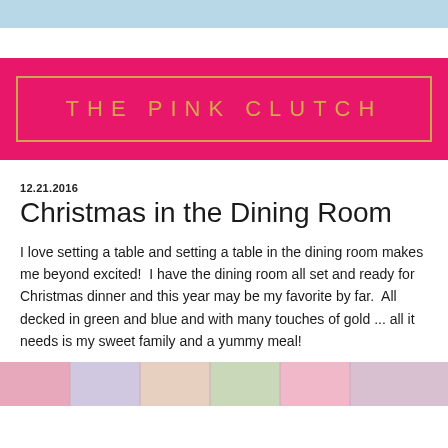THE PINK CLUTCH
12.21.2016
Christmas in the Dining Room
I love setting a table and setting a table in the dining room makes me beyond excited!  I have the dining room all set and ready for Christmas dinner and this year may be my favorite by far.  All decked in green and blue and with many touches of gold ... all it needs is my sweet family and a yummy meal!
[Figure (photo): Photo strip showing Christmas dining room decorations in pink tones]